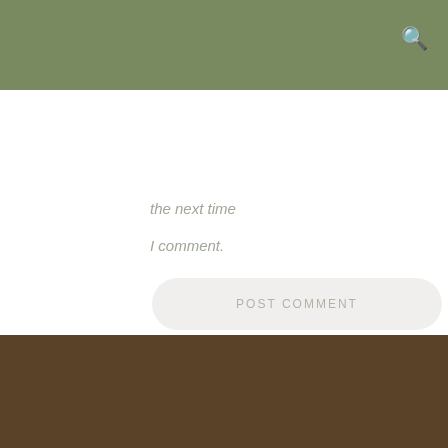the next time
I comment.
POST COMMENT
© 2015 - Eco Soul Wisdom. All Rights Reserved. Designed by Nye' Lyn Tho . Get in touch at ecosoulwisdom@gmail.com